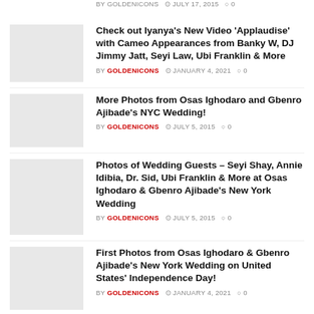BY GOLDENICONS  JULY 17, 2015  0
Check out Iyanya's New Video 'Applaudise' with Cameo Appearances from Banky W, DJ Jimmy Jatt, Seyi Law, Ubi Franklin & More
BY GOLDENICONS  JANUARY 4, 2021  0
More Photos from Osas Ighodaro and Gbenro Ajibade's NYC Wedding!
BY GOLDENICONS  JULY 5, 2015  0
Photos of Wedding Guests – Seyi Shay, Annie Idibia, Dr. Sid, Ubi Franklin & More at Osas Ighodaro & Gbenro Ajibade's New York Wedding
BY GOLDENICONS  JULY 5, 2015  0
First Photos from Osas Ighodaro & Gbenro Ajibade's New York Wedding on United States' Independence Day!
BY GOLDENICONS  JANUARY 4, 2021  0